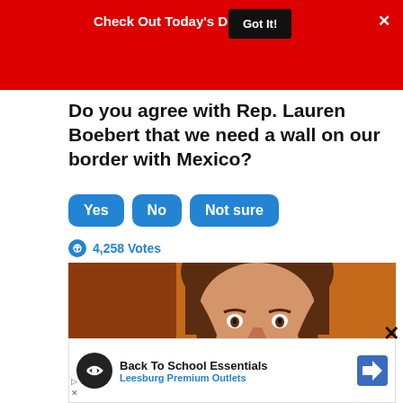[Figure (screenshot): Red banner ad at top with 'Check Out Today's Deals!' text, Got It! button, and X close button]
Do you agree with Rep. Lauren Boebert that we need a wall on our border with Mexico?
Yes
No
Not sure
4,258 Votes
[Figure (photo): Close-up photo of a woman with brown hair against an orange background]
[Figure (screenshot): Advertisement overlay: Back To School Essentials - Leesburg Premium Outlets with logo and navigation icon]